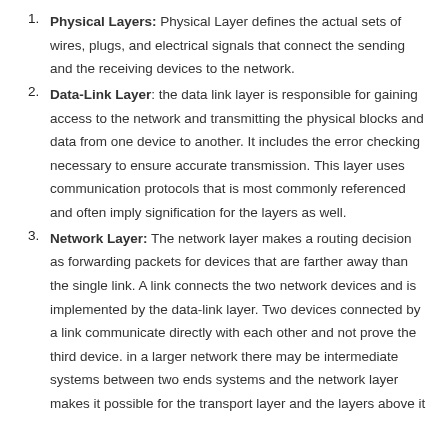Physical Layers: Physical Layer defines the actual sets of wires, plugs, and electrical signals that connect the sending and the receiving devices to the network.
Data-Link Layer: the data link layer is responsible for gaining access to the network and transmitting the physical blocks and data from one device to another. It includes the error checking necessary to ensure accurate transmission. This layer uses communication protocols that is most commonly referenced and often imply signification for the layers as well.
Network Layer: The network layer makes a routing decision as forwarding packets for devices that are farther away than the single link. A link connects the two network devices and is implemented by the data-link layer. Two devices connected by a link communicate directly with each other and not prove the third device. in a larger network there may be intermediate systems between two ends systems and the network layer makes it possible for the transport layer and the layers above it